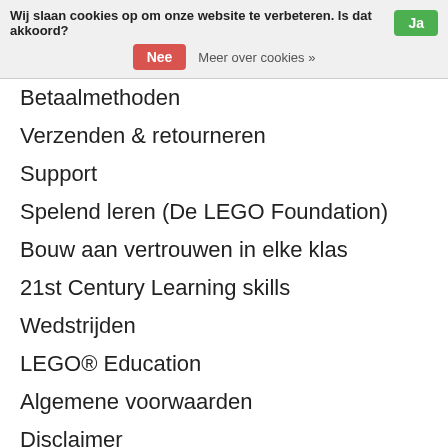Wij slaan cookies op om onze website te verbeteren. Is dat akkoord? Ja
Nee  Meer over cookies »
Betaalmethoden
Verzenden & retourneren
Support
Spelend leren (De LEGO Foundation)
Bouw aan vertrouwen in elke klas
21st Century Learning skills
Wedstrijden
LEGO® Education
Algemene voorwaarden
Disclaimer
Privacy Policy
Sitemap